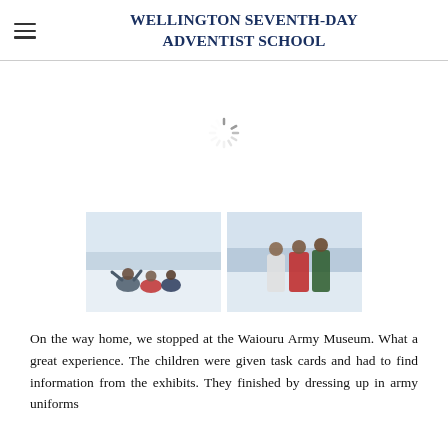Wellington Seventh-day Adventist School
[Figure (photo): Loading spinner icon in center of page]
[Figure (photo): Two photos of children playing in snow at Waiouru. Left photo shows children sitting/kneeling in snow waving. Right photo shows children standing in snow in winter clothing.]
On the way home, we stopped at the Waiouru Army Museum. What a great experience. The children were given task cards and had to find information from the exhibits. They finished by dressing up in army uniforms